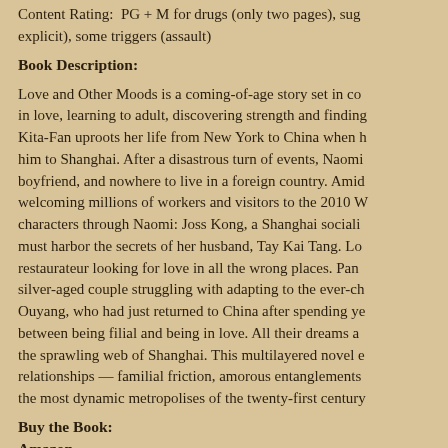Content Rating:  PG + M for drugs (only two pages), sug explicit), some triggers (assault)
Book Description:
Love and Other Moods is a coming-of-age story set in co in love, learning to adult, discovering strength and finding Kita-Fan uproots her life from New York to China when h him to Shanghai. After a disastrous turn of events, Naomi boyfriend, and nowhere to live in a foreign country. Amid welcoming millions of workers and visitors to the 2010 W characters through Naomi: Joss Kong, a Shanghai sociali must harbor the secrets of her husband, Tay Kai Tang. Lo restaurateur looking for love in all the wrong places. Pan silver-aged couple struggling with adapting to the ever-ch Ouyang, who had just returned to China after spending ye between being filial and being in love. All their dreams a the sprawling web of Shanghai. This multilayered novel e relationships — familial friction, amorous entanglements the most dynamic metropolises of the twenty-first century
Buy the Book:
Amazon